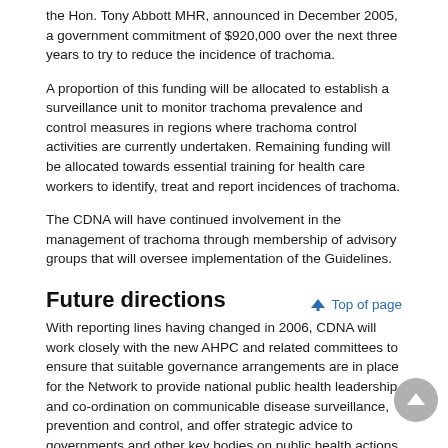the Hon. Tony Abbott MHR, announced in December 2005, a government commitment of $920,000 over the next three years to try to reduce the incidence of trachoma.
A proportion of this funding will be allocated to establish a surveillance unit to monitor trachoma prevalence and control measures in regions where trachoma control activities are currently undertaken. Remaining funding will be allocated towards essential training for health care workers to identify, treat and report incidences of trachoma.
The CDNA will have continued involvement in the management of trachoma through membership of advisory groups that will oversee implementation of the Guidelines.
Future directions
With reporting lines having changed in 2006, CDNA will work closely with the new AHPC and related committees to ensure that suitable governance arrangements are in place for the Network to provide national public health leadership and co-ordination on communicable disease surveillance, prevention and control, and offer strategic advice to governments and other key bodies on public health actions.
As well as the ongoing surveillance of communicable diseases, identified